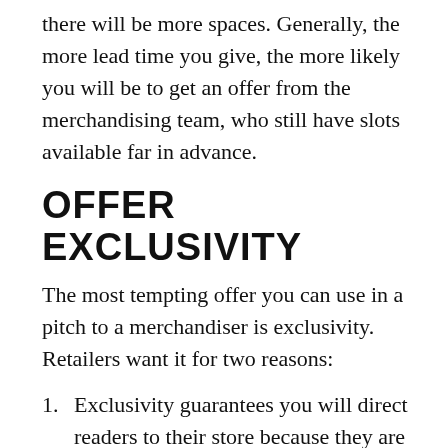there will be more spaces. Generally, the more lead time you give, the more likely you will be to get an offer from the merchandising team, who still have slots available far in advance.
OFFER EXCLUSIVITY
The most tempting offer you can use in a pitch to a merchandiser is exclusivity. Retailers want it for two reasons:
Exclusivity guarantees you will direct readers to their store because they are the only place that stocks your book.